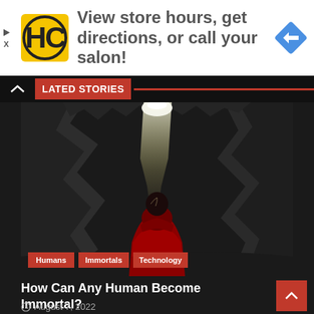[Figure (other): Advertisement banner: HC logo, text 'View store hours, get directions, or call your salon!' with navigation icon]
LATED STORIES
[Figure (photo): Dark cave interior with a figure in red robes meditating, light beam from above, waterfall in background. Category tags: Humans, Immortals, Technology]
How Can Any Human Become Immortal?
August 7, 2022
[Figure (photo): Partially visible bottom thumbnail strip image]